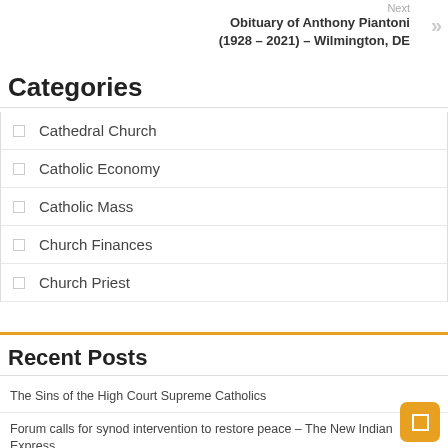Next
Obituary of Anthony Piantoni (1928 – 2021) – Wilmington, DE
Categories
Cathedral Church
Catholic Economy
Catholic Mass
Church Finances
Church Priest
Recent Posts
The Sins of the High Court Supreme Catholics
Forum calls for synod intervention to restore peace – The New Indian Express
Christian Aid: the new Prime Minister must act to help Afghans survive